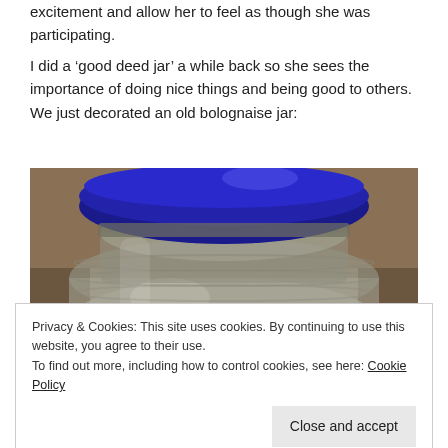excitement and allow her to feel as though she was participating.
I did a ‘good deed jar’ a while back so she sees the importance of doing nice things and being good to others. We just decorated an old bolognaise jar:
[Figure (photo): Close-up photograph of a glass jar with a dark blue lid, viewed from above and slightly to the side. The jar appears to be a repurposed bolognaise jar.]
Privacy & Cookies: This site uses cookies. By continuing to use this website, you agree to their use.
To find out more, including how to control cookies, see here: Cookie Policy
Close and accept